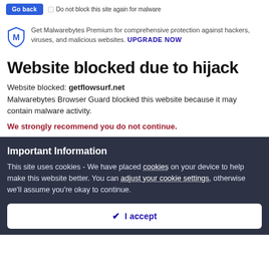[Figure (screenshot): Top bar with a blue back button and a checkbox labeled 'Do not block this site again for malware']
Get Malwarebytes Premium for comprehensive protection against hackers, viruses, and malicious websites. UPGRADE NOW
Website blocked due to hijack
Website blocked: getflowsurf.net
Malwarebytes Browser Guard blocked this website because it may contain malware activity.
We strongly recommend you do not continue.
Important Information
This site uses cookies - We have placed cookies on your device to help make this website better. You can adjust your cookie settings, otherwise we'll assume you're okay to continue.
✔ I accept